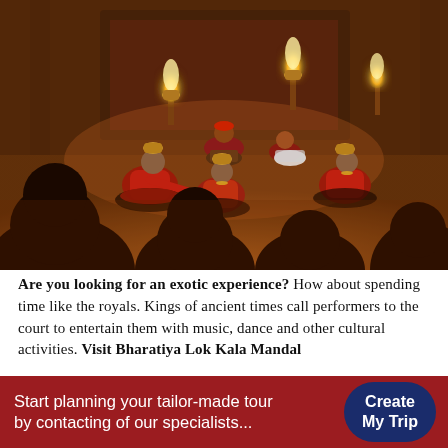[Figure (photo): Traditional Rajasthani folk dancers in red and orange costumes seated on the floor with brass pots balanced on their heads, performing indoors with torches/fire visible in the background. Musicians with drums are also visible. Silhouettes of audience in the foreground.]
Are you looking for an exotic experience? How about spending time like the royals. Kings of ancient times call performers to the court to entertain them with music, dance and other cultural activities. Visit Bharatiya Lok Kala Mandal
Start planning your tailor-made tour by contacting of our specialists...
Create My Trip